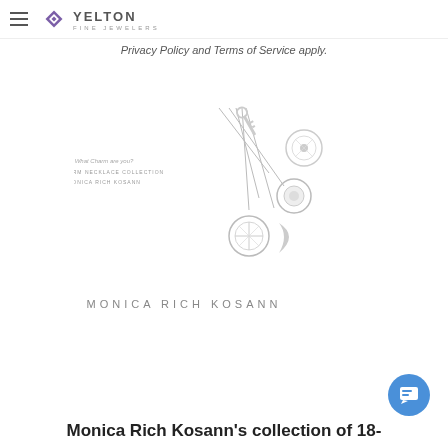Yelton Fine Jewelers
Privacy Policy and Terms of Service apply.
[Figure (photo): Monica Rich Kosann charm necklace collection advertisement showing multiple silver charms including a key, circle, compass, moon, and round pendants on chains, with text 'What Charm are you? THE CHARM NECKLACE COLLECTION MONICA RICH KOSANN']
MONICA RICH KOSANN
Monica Rich Kosann’s collection of 18-